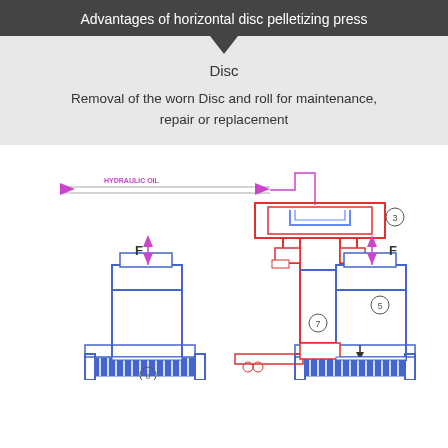Advantages of horizontal disc pelletizing press
Disc
Removal of the worn Disc and roll for maintenance, repair or replacement
[Figure (engineering-diagram): Cross-section engineering diagram of a horizontal disc pelletizing press hydraulic system. Shows hydraulic oil flow lines entering from left with arrows. Central assembly (red outline) contains hydraulic components labeled with circled numbers: 3 (top center), 4 (center right), 7 (center bottom). Two side cylinders (blue outline) on left and right with force arrows labeled F pointing up and down. Component 5 is on the right cylinder. Component 6 is at the bottom left. Blue disc/roll components visible at the bottom. A small downward arrow indicator on the right side bottom area.]